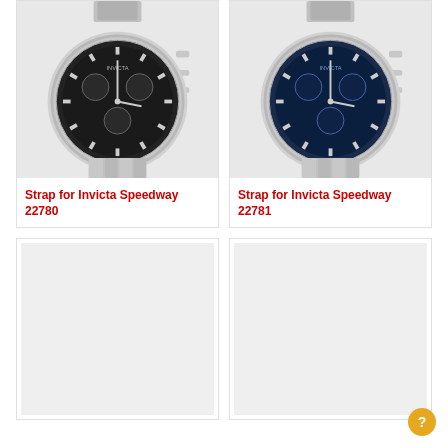[Figure (photo): Invicta Speedway 22780 chronograph watch with black dial and silver stainless steel bracelet]
Strap for Invicta Speedway 22780
[Figure (photo): Invicta Speedway 22781 chronograph watch with blue dial and silver stainless steel bracelet]
Strap for Invicta Speedway 22781
[Figure (photo): Placeholder image (light gray box)]
[Figure (photo): Placeholder image (light gray box)]